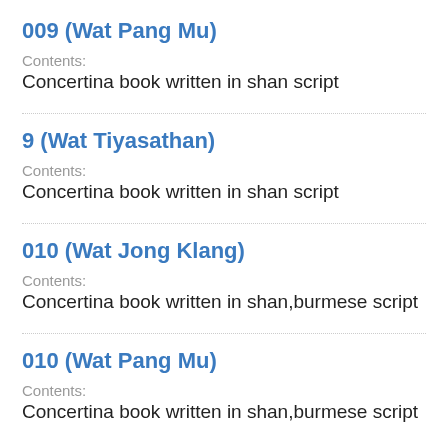009 (Wat Pang Mu)
Contents:
Concertina book written in shan script
9 (Wat Tiyasathan)
Contents:
Concertina book written in shan script
010 (Wat Jong Klang)
Contents:
Concertina book written in shan,burmese script
010 (Wat Pang Mu)
Contents:
Concertina book written in shan,burmese script